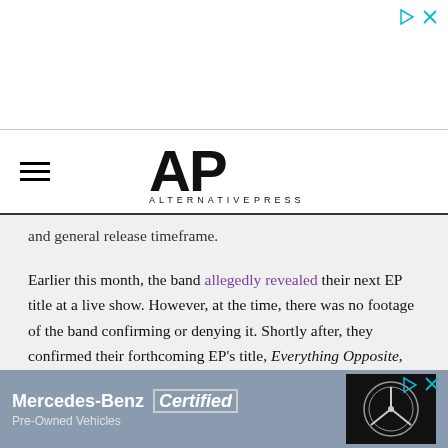[Figure (logo): Alternative Press (AP) logo with hamburger menu icon]
and general release timeframe.
Earlier this month, the band allegedly revealed their next EP title at a live show. However, at the time, there was no footage of the band confirming or denying it. Shortly after, they confirmed their forthcoming EP's title, Everything Opposite, which is due out this summer.
In the interview with Rocksound, the duo shares their thought process behind starting out with two EPs. However, when asked if they saw more music post-Everything Opposite, the pair we... create a full al...
[Figure (advertisement): Mercedes-Benz Certified Pre-Owned Vehicles advertisement with logo]